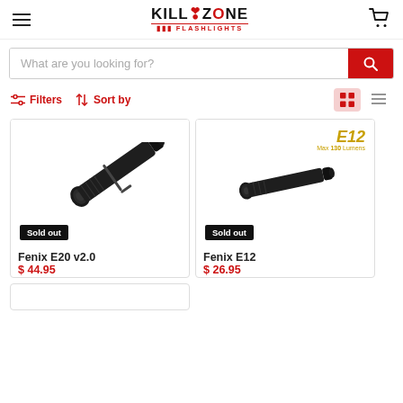KILLZONE FLASHLIGHTS
What are you looking for?
Filters  Sort by
[Figure (photo): Fenix E20 v2.0 black flashlight with clip, diagonal view, Sold out badge]
Fenix E20 v2.0
$ 44.95
Out of stock
[Figure (photo): Fenix E12 black flashlight, smaller size, Sold out badge, E12 Max 130 Lumens branding]
Fenix E12
$ 26.95
Out of stock